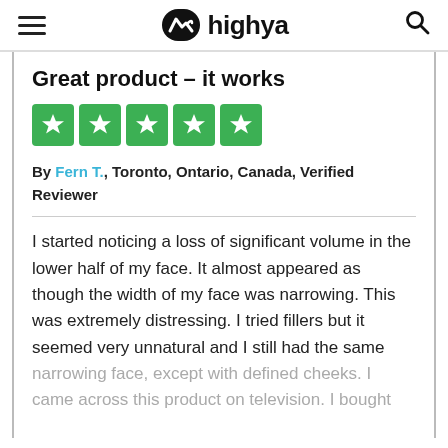highya
Great product – it works
[Figure (other): Five green star rating boxes (5 out of 5 stars)]
By Fern T., Toronto, Ontario, Canada, Verified Reviewer
I started noticing a loss of significant volume in the lower half of my face. It almost appeared as though the width of my face was narrowing. This was extremely distressing. I tried fillers but it seemed very unnatural and I still had the same narrowing face, except with defined cheeks. I came across this product on television. I bought